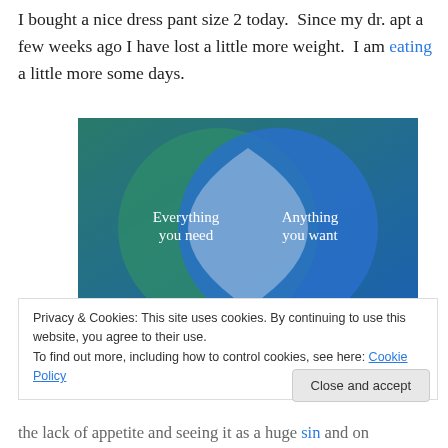I bought a nice dress pant size 2 today.  Since my dr. apt a few weeks ago I have lost a little more weight.  I am eating a little more some days.
[Figure (infographic): Venn diagram with two overlapping circles on a blue-green gradient background. Left circle (teal/green) labeled 'Everything you need', right circle (blue) labeled 'Anything you want', overlapping region is a lighter blue-gray vesica shape.]
Privacy & Cookies: This site uses cookies. By continuing to use this website, you agree to their use.
To find out more, including how to control cookies, see here: Cookie Policy
the lack of appetite and seeing it as a huge sin and on